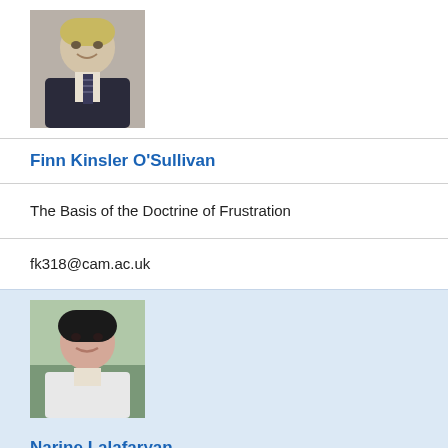[Figure (photo): Profile photo of a young man wearing a dark suit jacket and striped tie, smiling]
Finn Kinsler O'Sullivan
The Basis of the Doctrine of Frustration
fk318@cam.ac.uk
[Figure (photo): Profile photo of a woman with dark hair wearing a white blazer, outdoors background]
Narine Lalafaryan